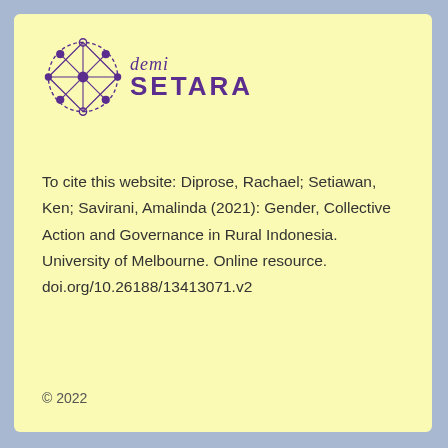[Figure (logo): demi SETARA logo with purple geometric network/diamond icon and stylized text]
To cite this website: Diprose, Rachael; Setiawan, Ken; Savirani, Amalinda (2021): Gender, Collective Action and Governance in Rural Indonesia. University of Melbourne. Online resource. doi.org/10.26188/13413071.v2
© 2022